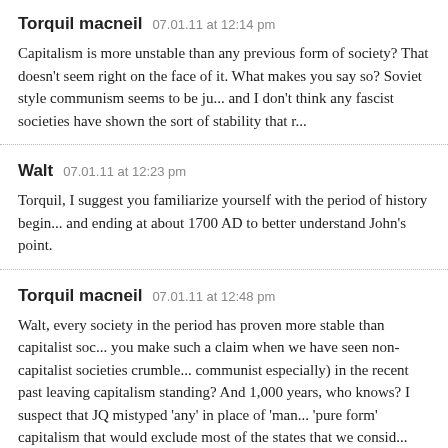Torquil macneil   07.01.11 at 12:14 pm
Capitalism is more unstable than any previous form of society? That doesn't seem right on the face of it. What makes you say so? Soviet style communism seems to be ju... and I don't think any fascist societies have shown the sort of stability that r...
Walt   07.01.11 at 12:23 pm
Torquil, I suggest you familiarize yourself with the period of history begin... and ending at about 1700 AD to better understand John's point.
Torquil macneil   07.01.11 at 12:48 pm
Walt, every society in the period has proven more stable than capitalist soc... you make such a claim when we have seen non-capitalist societies crumble... communist especially) in the recent past leaving capitalism standing? And 1,000 years, who knows? I suspect that JQ mistyped 'any' in place of 'man... 'pure form' capitalism that would exclude most of the states that we consid... but it IS a big claim as it stands.